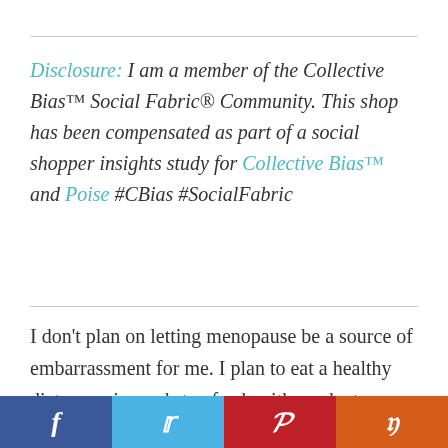Disclosure: I am a member of the Collective Bias™ Social Fabric® Community. This shop has been compensated as part of a social shopper insights study for Collective Bias™ and Poise #CBias #SocialFabric
I don't plan on letting menopause be a source of embarrassment for me. I plan to eat a healthy diet, exercise and stay fresh with products designed to help women continue to feel
[Figure (infographic): Social sharing bar with four buttons: Facebook (blue), Twitter (light blue), Pinterest (red), Yummly (orange)]